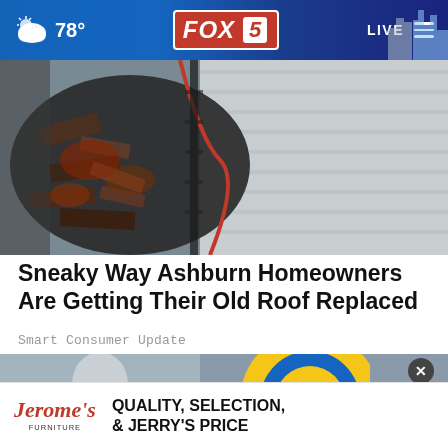78° FOX 5 LIVE
[Figure (photo): Damaged roof with broken shingles and debris, close-up aerial view]
Sneaky Way Ashburn Homeowners Are Getting Their Old Roof Replaced
Smart Consumer Update
[Figure (photo): Person in room with circular yellow and blue graphic overlay, Jerome's Furniture advertisement at bottom]
QUALITY, SELECTION, & JERRY'S PRICE